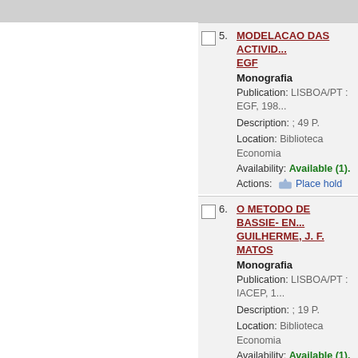5. MODELACAO DAS ACTIVID... EGF
Monografia
Publication: LISBOA/PT : EGF, 198...
Description: ; 49 P.
Location: Biblioteca Economia
Availability: Available (1).
Actions: Place hold
6. O METODO DE BASSIE- EN... GUILHERME, J. F. MATOS
Monografia
Publication: LISBOA/PT : IACEP, 1...
Description: ; 19 P.
Location: Biblioteca Economia
Availability: Available (1).
Actions: Place hold
7. A NORMALIZACAO E HARM...
Analítico
Availability: No copies available
Actions: